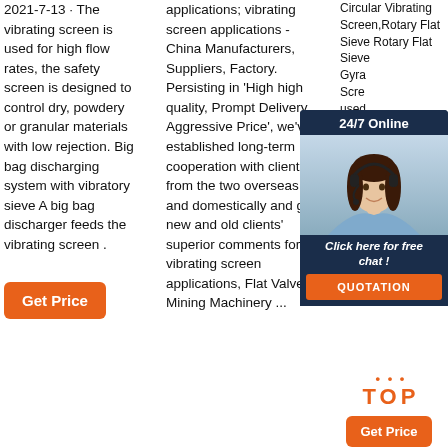2021-7-13 · The vibrating screen is used for high flow rates, the safety screen is designed to control dry, powdery or granular materials with low rejection. Big bag discharging system with vibratory sieve A big bag discharger feeds the vibrating screen .
Get Price
applications; vibrating screen applications - China Manufacturers, Suppliers, Factory. Persisting in 'High high quality, Prompt Delivery, Aggressive Price', we've established long-term cooperation with clients from the two overseas and domestically and get new and old clients' superior comments for vibrating screen applications, Flat Valve, Mining Machinery ...
Circular Vibrating Screen,Rotary Flat Sieve Rotary Flat Sieve ... Gyra... Scre... used... fertil... carb... pow... star... mat... Vibrating Machine suppliers, wholesalers and factory. Get Price.
[Figure (photo): Chat overlay with a woman wearing a headset, 24/7 Online header, 'Click here for free chat!' text, and QUOTATION button]
TOP
Get Price